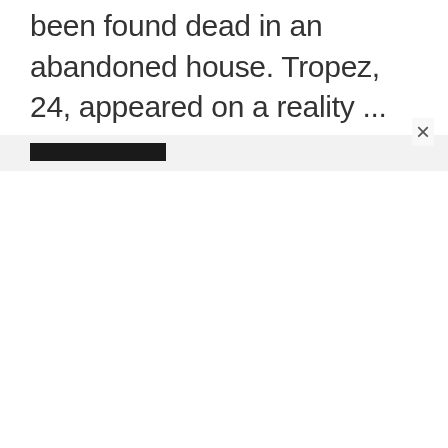been found dead in an abandoned house. Tropez, 24, appeared on a reality ...
[Figure (other): Gray notification bar with black redacted rectangle and close (×) button]